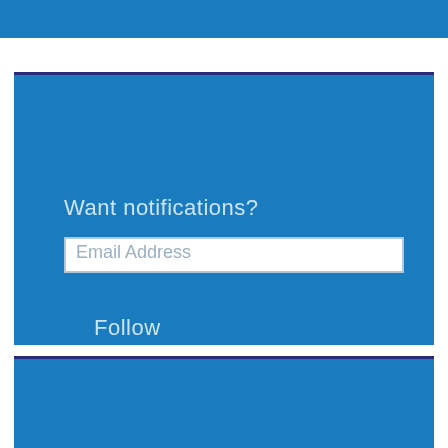[Figure (screenshot): Top blue banner strip]
Want notifications?
[Figure (screenshot): Email Address input field (white rectangle with placeholder text)]
Follow
[Figure (screenshot): Follow All Options Considered button with WordPress icon in bottom blue section]